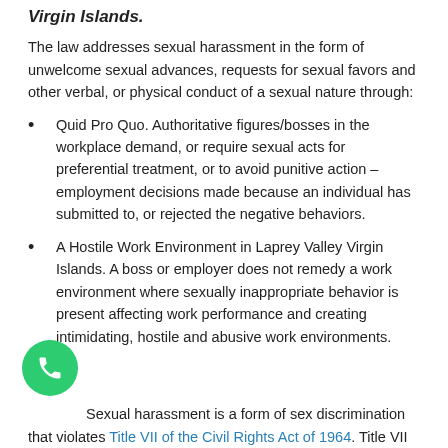Virgin Islands.
The law addresses sexual harassment in the form of unwelcome sexual advances, requests for sexual favors and other verbal, or physical conduct of a sexual nature through:
Quid Pro Quo. Authoritative figures/bosses in the workplace demand, or require sexual acts for preferential treatment, or to avoid punitive action – employment decisions made because an individual has submitted to, or rejected the negative behaviors.
A Hostile Work Environment in Laprey Valley Virgin Islands. A boss or employer does not remedy a work environment where sexually inappropriate behavior is present affecting work performance and creating intimidating, hostile and abusive work environments.
Sexual harassment is a form of sex discrimination that violates Title VII of the Civil Rights Act of 1964. Title VII